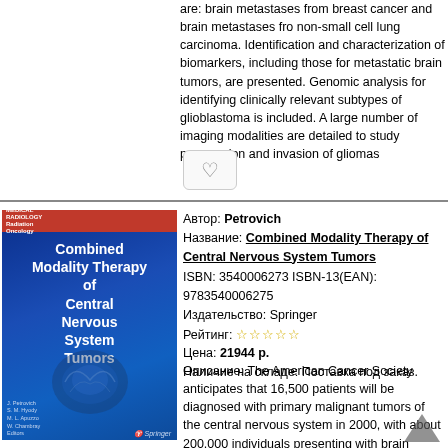are: brain metastases from breast cancer and brain metastases fro non-small cell lung carcinoma. Identification and characterization of biomarkers, including those for metastatic brain tumors, are presented. Genomic analysis for identifying clinically relevant subtypes of glioblastoma is included. A large number of imaging modalities are detailed to study progression and invasion of gliomas
[Figure (other): Heart/favorite button icon]
Автор: Petrovich
Название: Combined Modality Therapy of Central Nervous System Tumors
ISBN: 3540006273 ISBN-13(EAN): 9783540006275
Издательство: Springer
Рейтинг: ☆☆☆☆☆
Цена: 21944 р.
Наличие на складе: Поставка под заказ.
[Figure (photo): Book cover for Combined Modality Therapy of Central Nervous System Tumors by Petrovich, published by Springer. Blue cover with brain scan image.]
Описание: The American Cancer Society anticipates that 16,500 patients will be diagnosed with primary malignant tumors of the central nervous system in 2000, with about 200,000 individuals presenting with brain metastases. The advances in the